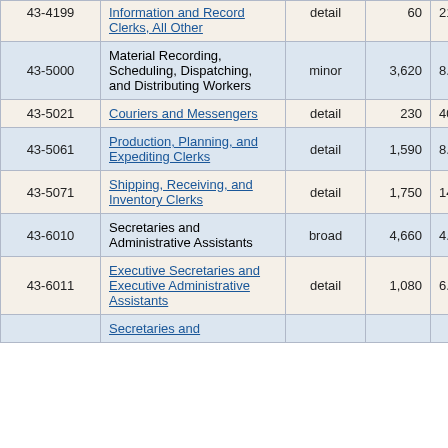| Code | Occupation | Level | Employment |  |
| --- | --- | --- | --- | --- |
| 43-4199 | Information and Record Clerks, All Other | detail | 60 | 21. |
| 43-5000 | Material Recording, Scheduling, Dispatching, and Distributing Workers | minor | 3,620 | 8. |
| 43-5021 | Couriers and Messengers | detail | 230 | 40. |
| 43-5061 | Production, Planning, and Expediting Clerks | detail | 1,590 | 8. |
| 43-5071 | Shipping, Receiving, and Inventory Clerks | detail | 1,750 | 14. |
| 43-6010 | Secretaries and Administrative Assistants | broad | 4,660 | 4. |
| 43-6011 | Executive Secretaries and Executive Administrative Assistants | detail | 1,080 | 6. |
|  | Secretaries and |  |  |  |